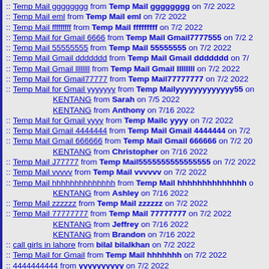:: Temp Mail gggggggg from Temp Mail gggggggg on 7/2 2022
:: Temp Mail eml from Temp Mail eml on 7/2 2022
:: Temp Mail fffffffff from Temp Mail fffffffff on 7/2 2022
:: Temp Mail for Gmail 6666 from Temp Mail Gmail7777555 on 7/2 2...
:: Temp Mail 55555555 from Temp Mail 55555555 on 7/2 2022
:: Temp Mail Gmail ddddddd from Temp Mail Gmail ddddddd on 7/2...
:: Temp Mail Gmail llllllll from Temp Mail Gmail llllllll on 7/2 2022
:: Temp Mail for Gmail77777 from Temp Mail77777777 on 7/2 2022
:: Temp Mail for Gmail yyyyyyy from Temp Mailyyyyyyyyyyyyy55 on...
KENTANG from Sarah on 7/5 2022
KENTANG from Anthony on 7/16 2022
:: Temp Mail for Gmail yyyy from Temp Mailc yyyy on 7/2 2022
:: Temp Mail Gmail 4444444 from Temp Mail Gmail 4444444 on 7/2 ...
:: Temp Mail Gmail 666666 from Temp Mail Gmail 666666 on 7/2 20...
KENTANG from Christopher on 7/16 2022
:: Temp Mail J77777 from Temp Mail5555555555555555 on 7/2 2022
:: Temp Mail vvvvv from Temp Mail vvvvvv on 7/2 2022
:: Temp Mail hhhhhhhhhhhhhh from Temp Mail hhhhhhhhhhhhhh o...
KENTANG from Ashley on 7/16 2022
:: Temp Mail zzzzzz from Temp Mail zzzzzz on 7/2 2022
:: Temp Mail 77777777 from Temp Mail 77777777 on 7/2 2022
KENTANG from Jeffrey on 7/16 2022
KENTANG from Brandon on 7/16 2022
:: call girls in lahore from bilal bilalkhan on 7/2 2022
:: Temp Mail for Gmail from Temp Mail hhhhhhh on 7/2 2022
:: 4444444444 from yyyyyyyyyy on 7/2 2022
:: 44444444444 from 5555544444444444 on 7/2 2022
:: Temp Mail 5555 from Temp Mail 5555 on 7/2 2022
KENTANG from John on 7/5 2022
:: Temp Mail ggg from Temp Mail ggg on 7/2 2022
KENTANG from Brandon on 7/5 2022